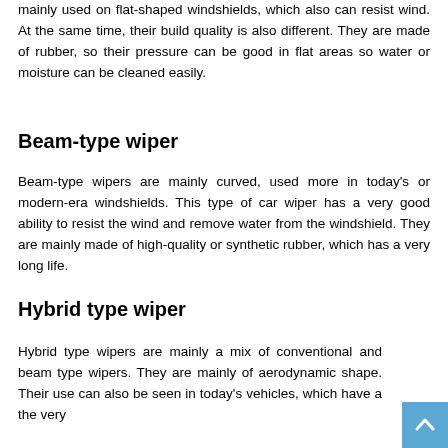mainly used on flat-shaped windshields, which also can resist wind. At the same time, their build quality is also different. They are made of rubber, so their pressure can be good in flat areas so water or moisture can be cleaned easily.
Beam-type wiper
Beam-type wipers are mainly curved, used more in today's or modern-era windshields. This type of car wiper has a very good ability to resist the wind and remove water from the windshield. They are mainly made of high-quality or synthetic rubber, which has a very long life.
Hybrid type wiper
Hybrid type wipers are mainly a mix of conventional and beam type wipers. They are mainly of aerodynamic shape. Their use can also be seen in today's vehicles, which have a the very